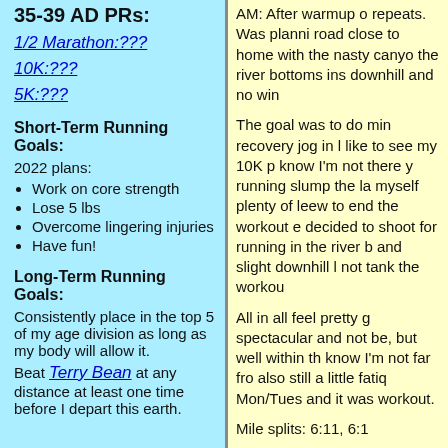35-39 AD PRs:
1/2 Marathon:???
10K:???
5K:???
Short-Term Running Goals:
2022 plans:
Work on core strength
Lose 5 lbs
Overcome lingering injuries
Have fun!
Long-Term Running Goals:
Consistently place in the top 5 of my age division as long as my body will allow it.
Beat Terry Bean at any distance at least one time before I depart this earth.
AM: After warmup o repeats. Was planni road close to home with the nasty canyo the river bottoms ins downhill and no win
The goal was to do min recovery jog in l like to see my 10K p know I'm not there y running slump the la myself plenty of leew to end the workout e decided to shoot for running in the river b and slight downhill l not tank the workou
All in all feel pretty g spectacular and not be, but well within th know I'm not far fro also still a little fatiq Mon/Tues and it was workout.
Mile splits: 6:11, 6:1